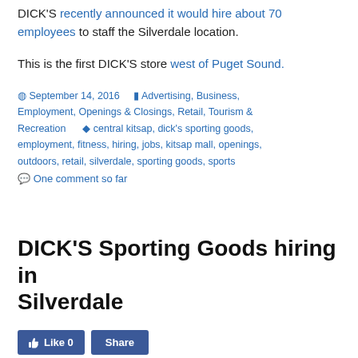DICK'S recently announced it would hire about 70 employees to staff the Silverdale location.
This is the first DICK'S store west of Puget Sound.
September 14, 2016  Advertising, Business, Employment, Openings & Closings, Retail, Tourism & Recreation  central kitsap, dick's sporting goods, employment, fitness, hiring, jobs, kitsap mall, openings, outdoors, retail, silverdale, sporting goods, sports  One comment so far
DICK'S Sporting Goods hiring in Silverdale